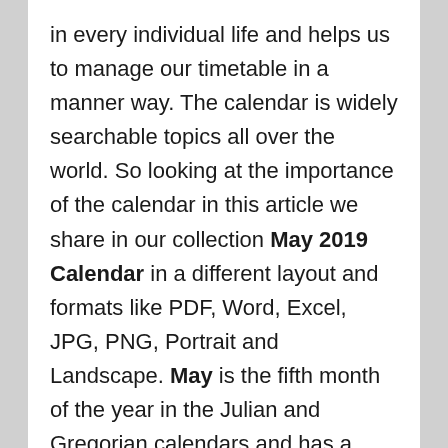in every individual life and helps us to manage our timetable in a manner way. The calendar is widely searchable topics all over the world. So looking at the importance of the calendar in this article we share in our collection May 2019 Calendar in a different layout and formats like PDF, Word, Excel, JPG, PNG, Portrait and Landscape. May is the fifth month of the year in the Julian and Gregorian calendars and has a length of 31 days. May is the month of spring in the northern hemisphere and autumn in the southern hemisphere.